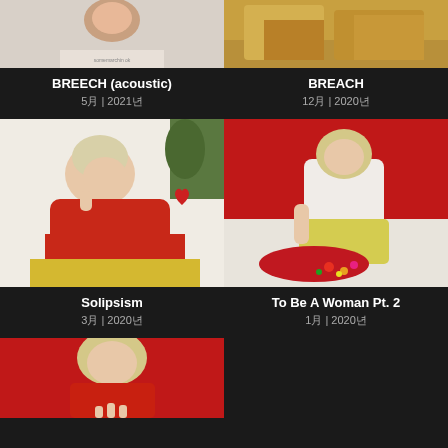[Figure (photo): Album cover for BREECH (acoustic) - partial view of face/figure on light background]
BREECH (acoustic)
5月 | 2021년
[Figure (photo): Album cover for BREACH - yellow/golden fabric or bedding]
BREACH
12月 | 2020년
[Figure (photo): Album cover for Solipsism - person in red turtleneck sweater with blonde hair]
Solipsism
3月 | 2020년
[Figure (photo): Album cover for To Be A Woman Pt. 2 - person in white shirt and yellow pants on bed with red background]
To Be A Woman Pt. 2
1月 | 2020년
[Figure (photo): Partial album cover - person on red background, bottom of page]